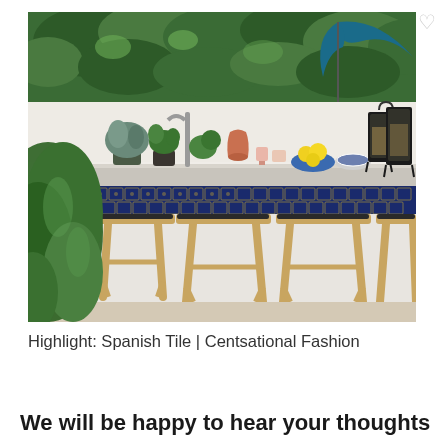[Figure (photo): Outdoor kitchen/bar area with wooden bar stools, a concrete countertop with blue Spanish tile trim, various plants, lemons in a blue bowl, glassware, a faucet, and lanterns in the background. Green trees/shrubs visible above a white wall. Blue patio umbrella in upper right corner. Heart/like icon in top right.]
Highlight: Spanish Tile | Centsational Fashion
We will be happy to hear your thoughts